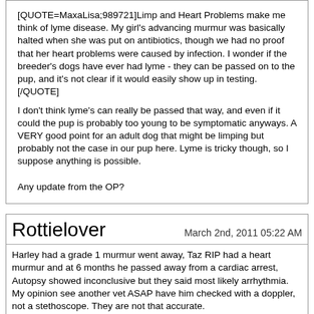[QUOTE=MaxaLisa;989721]Limp and Heart Problems make me think of lyme disease. My girl's advancing murmur was basically halted when she was put on antibiotics, though we had no proof that her heart problems were caused by infection. I wonder if the breeder's dogs have ever had lyme - they can be passed on to the pup, and it's not clear if it would easily show up in testing.
[/QUOTE]
I don't think lyme's can really be passed that way, and even if it could the pup is probably too young to be symptomatic anyways. A VERY good point for an adult dog that might be limping but probably not the case in our pup here. Lyme is tricky though, so I suppose anything is possible.

Any update from the OP?
Rottielover
March 2nd, 2011 05:22 AM
Harley had a grade 1 murmur went away, Taz RIP had a heart murmur and at 6 months he passed away from a cardiac arrest, Autopsy showed inconclusive but they said most likely arrhythmia. My opinion see another vet ASAP have him checked with a doppler, not a stethoscope. They are not that accurate.
All times are GMT -5. The time now is 03:54 PM.
Powered by vBulletin® Version 3.8.8